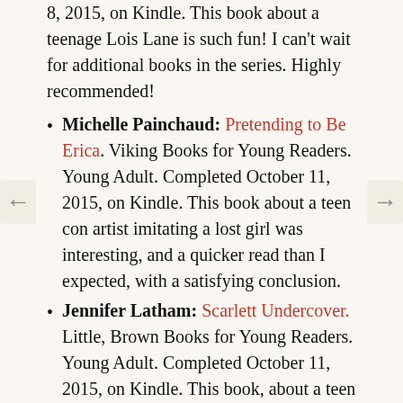8, 2015, on Kindle. This book about a teenage Lois Lane is such fun! I can't wait for additional books in the series. Highly recommended!
Michelle Painchaud: Pretending to Be Erica. Viking Books for Young Readers. Young Adult. Completed October 11, 2015, on Kindle. This book about a teen con artist imitating a lost girl was interesting, and a quicker read than I expected, with a satisfying conclusion.
Jennifer Latham: Scarlett Undercover. Little, Brown Books for Young Readers. Young Adult. Completed October 11, 2015, on Kindle. This book, about a teen private eye, has crime-solving, ethnic diversity, and supernatural elements. I enjoyed it, but I found that a central